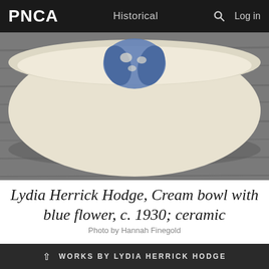PNCA  Historical  Log in
[Figure (photo): Photograph of a cream-colored ceramic bowl with a blue flower design, resting on a grey wooden surface. The bowl is viewed from slightly above, showing the interior with a blue stylized flower motif. Background is a grey brushed wood texture.]
Lydia Herrick Hodge, Cream bowl with blue flower, c. 1930; ceramic
Photo by Hannah Finegold
WORKS BY LYDIA HERRICK HODGE